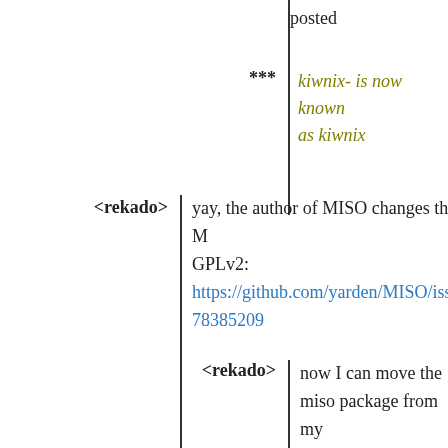posted
***
kiwnix- is now known as kiwnix
<rekado>
yay, the author of MISO changes the license from M... GPLv2: https://github.com/yarden/MISO/issues/72#issueco... 78385209
<rekado>
now I can move the miso package from my private bioinformatics-nonfree module to upstream bioinformatics.
<rekado>
the problem was that MISO included GPL'd code. Luckily they took...